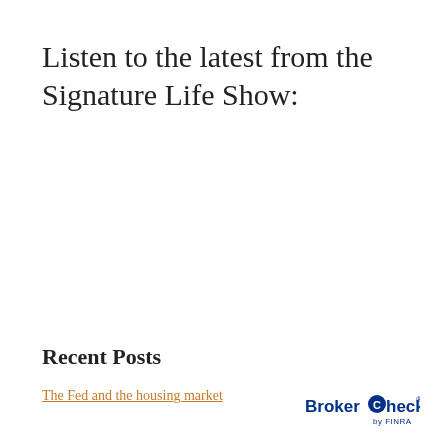Listen to the latest from the Signature Life Show:
Recent Posts
The Fed and the housing market
[Figure (logo): BrokerCheck by FINRA logo in blue]